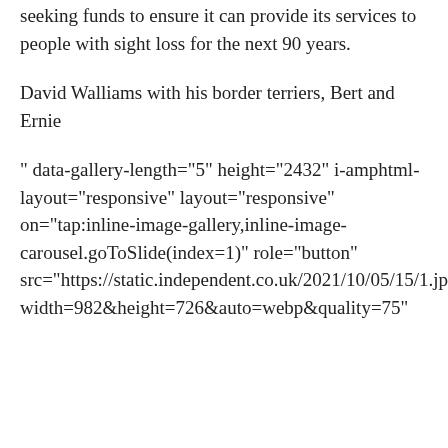seeking funds to ensure it can provide its services to people with sight loss for the next 90 years.
David Walliams with his border terriers, Bert and Ernie
" data-gallery-length="5" height="2432" i-amphtml-layout="responsive" layout="responsive" on="tap:inline-image-gallery,inline-image-carousel.goToSlide(index=1)" role="button" src="https://static.independent.co.uk/2021/10/05/15/1.jpg?width=982&height=726&auto=webp&quality=75"